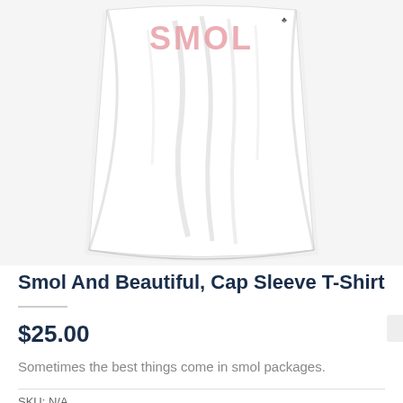[Figure (photo): A white cap sleeve t-shirt with pink 'SMOL' text printed on it, shown hanging/folded against a light background. The bottom hem and front of the shirt are visible.]
Smol And Beautiful, Cap Sleeve T-Shirt
$25.00
Sometimes the best things come in smol packages.
SKU: N/A